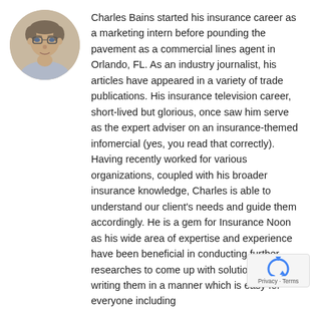[Figure (photo): Circular headshot photo of Charles Bains, a middle-aged man with glasses]
Charles Bains started his insurance career as a marketing intern before pounding the pavement as a commercial lines agent in Orlando, FL. As an industry journalist, his articles have appeared in a variety of trade publications. His insurance television career, short-lived but glorious, once saw him serve as the expert adviser on an insurance-themed infomercial (yes, you read that correctly). Having recently worked for various organizations, coupled with his broader insurance knowledge, Charles is able to understand our client's needs and guide them accordingly. He is a gem for Insurance Noon as his wide area of expertise and experience have been beneficial in conducting further researches to come up with solutions and writing them in a manner which is easy for everyone including